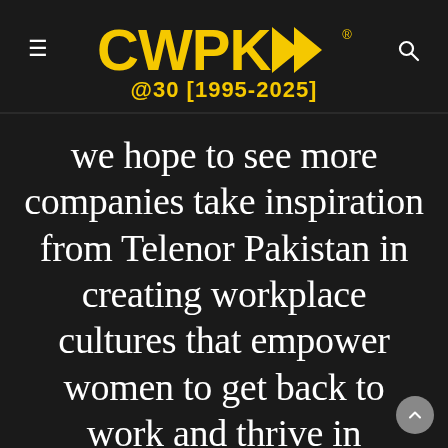CWPK>> @30 [1995-2025]
we hope to see more companies take inspiration from Telenor Pakistan in creating workplace cultures that empower women to get back to work and thrive in leadership roles," Bakken